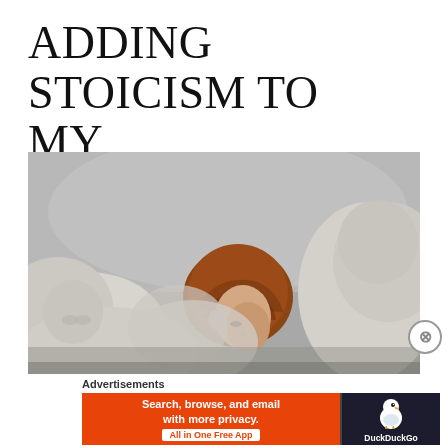ADDING STOICISM TO MY SPIRITUALITY
[Figure (photo): A person with auburn/red hair viewed from behind, surrounded by white classical stone sculptures or busts in what appears to be a museum or gallery setting. The background is gray and out of focus.]
Advertisements
[Figure (screenshot): DuckDuckGo advertisement banner with orange background on the left reading 'Search, browse, and email with more privacy. All in One Free App' and dark right panel with DuckDuckGo duck logo and text 'DuckDuckGo']